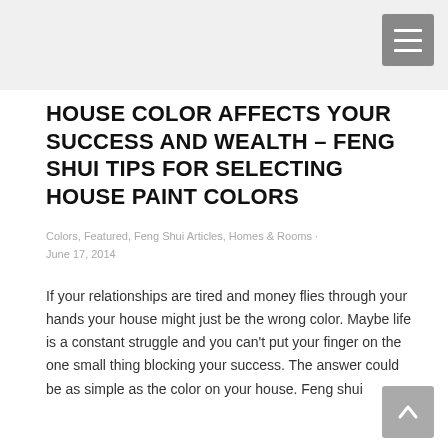HOUSE COLOR AFFECTS YOUR SUCCESS AND WEALTH – FENG SHUI TIPS FOR SELECTING HOUSE PAINT COLORS
Colors, Featured, Feng Shui Articles, Homes & Rooms · June 17, 2014
If your relationships are tired and money flies through your hands your house might just be the wrong color. Maybe life is a constant struggle and you can't put your finger on the one small thing blocking your success. The answer could be as simple as the color on your house. Feng shui